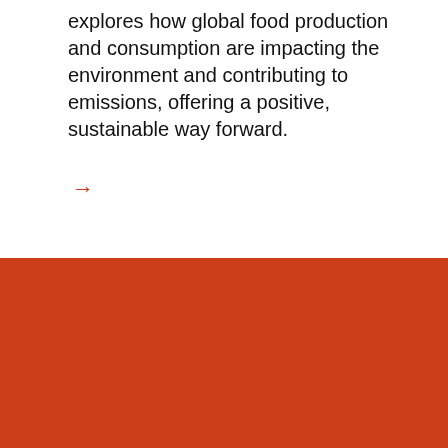explores how global food production and consumption are impacting the environment and contributing to emissions, offering a positive, sustainable way forward.
→
[Figure (logo): University of Sydney shield logo with 'THE UNIVERSITY OF SYDNEY' text]
Leadership for good starts